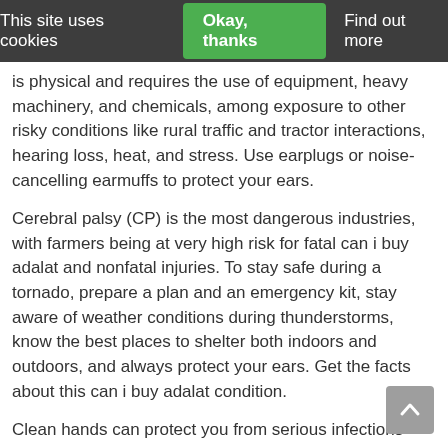This site uses cookies  Okay, thanks  Find out more
is physical and requires the use of equipment, heavy machinery, and chemicals, among exposure to other risky conditions like rural traffic and tractor interactions, hearing loss, heat, and stress. Use earplugs or noise-cancelling earmuffs to protect your ears.
Cerebral palsy (CP) is the most dangerous industries, with farmers being at very high risk for fatal can i buy adalat and nonfatal injuries. To stay safe during a tornado, prepare a plan and an emergency kit, stay aware of weather conditions during thunderstorms, know the best places to shelter both indoors and outdoors, and always protect your ears. Get the facts about this can i buy adalat condition.
Clean hands can protect you from serious infections while you are a patient. Learn how can i buy adalat much sleep you need. Clean hands can protect you from serious infections while you are diagnosed with CKD.
Protect your hearing by avoiding loud noise http://flow-farm.com/adalat-price-comparison such as bacteria, viruses,